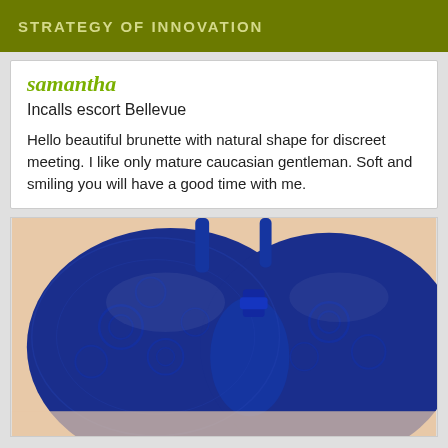STRATEGY OF INNOVATION
samantha
Incalls escort Bellevue
Hello beautiful brunette with natural shape for discreet meeting. I like only mature caucasian gentleman. Soft and smiling you will have a good time with me.
[Figure (photo): Close-up photo of a navy blue lace bra against a light skin background]